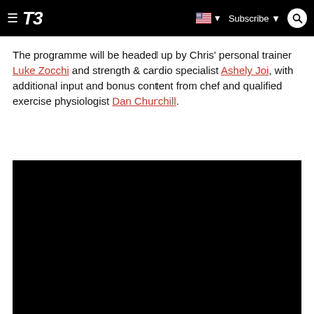T3 | Subscribe | [flag] | [search]
The programme will be headed up by Chris' personal trainer Luke Zocchi and strength & cardio specialist Ashely Joi, with additional input and bonus content from chef and qualified exercise physiologist Dan Churchill.
[Figure (photo): Black video embed placeholder rectangle]